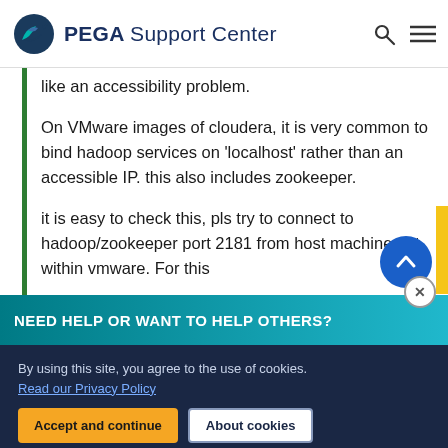PEGA Support Center
like an accessibility problem.
On VMware images of cloudera, it is very common to bind hadoop services on 'localhost' rather than an accessible IP. this also includes zookeeper.
it is easy to check this, pls try to connect to hadoop/zookeeper port 2181 from host machine not within vmware. For this
NEED HELP OR WANT TO HELP OTHERS?
By using this site, you agree to the use of cookies.
Read our Privacy Policy
Accept and continue   About cookies